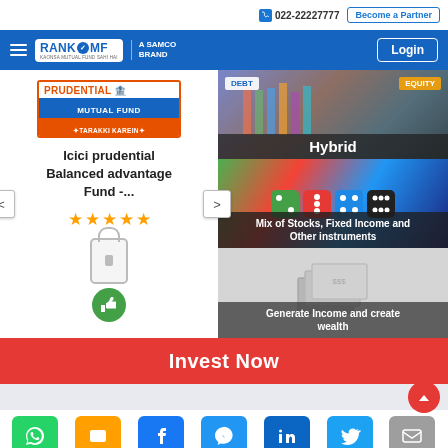022-22227777  Become a Partner
[Figure (screenshot): RankMF - A Samco Brand navigation bar with hamburger menu and Login button]
[Figure (logo): ICICI Prudential Mutual Fund - Tarakki Karein logo]
Icici prudential Balanced advantage Fund -...
[Figure (infographic): 5-star rating in orange stars]
[Figure (infographic): Lock icon and thumbs up icon]
[Figure (photo): Hybrid fund category image with DEBT and EQUITY badges, label: Hybrid]
[Figure (photo): Mix of stocks image with dice, label: Mix of Stocks, Fixed Income and Other instruments]
[Figure (infographic): Generate Income and create wealth section with money/cards icon]
Invest Now
[Figure (infographic): Social share buttons: WhatsApp, SMS, Facebook, Messenger, LinkedIn, Twitter, Email]